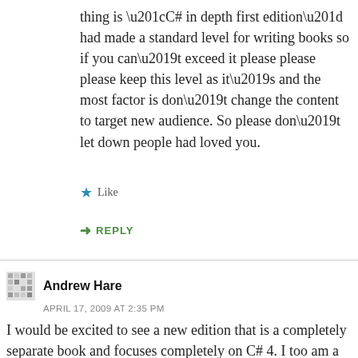thing is “C# in depth first edition” had made a standard level for writing books so if you can’t exceed it please please please keep this level as it’s and the most factor is don’t change the content to target new audience. So please don’t let down people had loved you.
★ Like
→ REPLY
Andrew Hare
APRIL 17, 2009 AT 2:35 PM
I would be excited to see a new edition that is a completely separate book and focuses completely on C# 4. I too am a fan of slim books.
★ Like